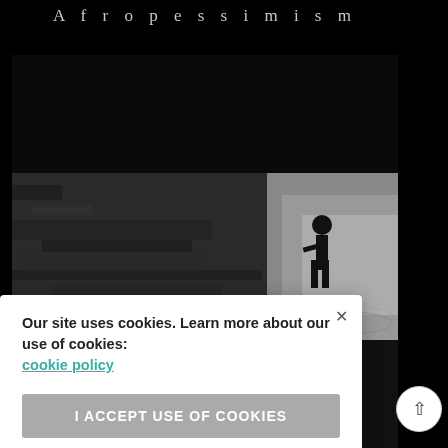Afropessimism
[Figure (photo): Black and white photograph of a person standing near a large textured wall, with light coming from behind. The image is the cover of the book 'Afropessimism'.]
Our site uses cookies. Learn more about our use of cookies: cookie policy
I ACCEPT USE OF COOKIES
|||